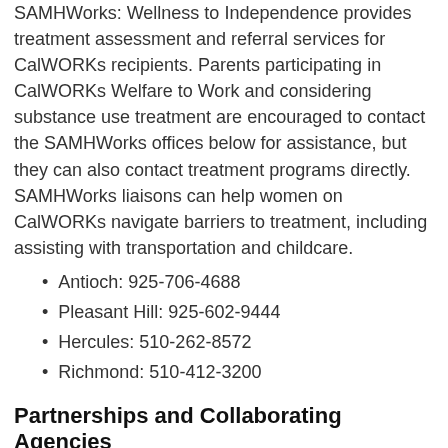SAMHWorks: Wellness to Independence provides treatment assessment and referral services for CalWORKs recipients. Parents participating in CalWORKs Welfare to Work and considering substance use treatment are encouraged to contact the SAMHWorks offices below for assistance, but they can also contact treatment programs directly. SAMHWorks liaisons can help women on CalWORKs navigate barriers to treatment, including assisting with transportation and childcare.
Antioch: 925-706-4688
Pleasant Hill: 925-602-9444
Hercules: 510-262-8572
Richmond: 510-412-3200
Partnerships and Collaborating Agencies
To address the complex, multisystemic needs of the women of Contra Costa County, we partner with other county agencies to offer comprehensive, interdisciplinary and quality care to our community's families.
Employment and Human Services (EHSD)